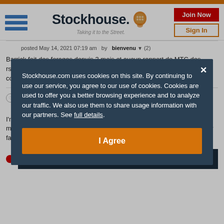Stockhouse - Taking it to the Street. [Join Now] [Sign In]
posted May 14, 2021 07:19 am  by  bienvenu ▼ (2)
Barrick fait des forages depuis 3 mois et aucun rapport de MTC des rsultats des sondages. L'autorit des Marchs de l'Ontario devrait commencer s'intresser ce dossier. Il y a quelque chose...read more
Informal poll and message to management
posted May 14, 2021 06:12 am  by  icefish ▼ (141)
I'm interested in hearing how many people would favour a wholesale management change here. It's been over 20 years with not a single new face ou
Stockhouse.com uses cookies on this site. By continuing to use our service, you agree to our use of cookies. Cookies are used to offer you a better browsing experience and to analyze our traffic. We also use them to share usage information with our partners. See full details.
I Agree